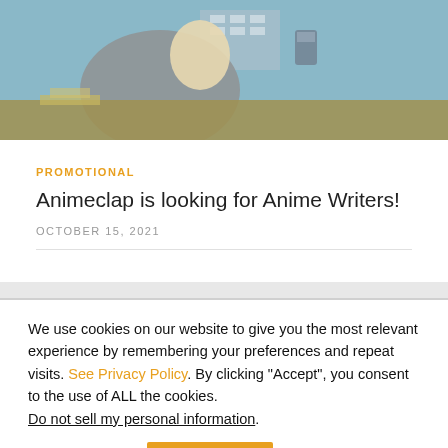[Figure (illustration): Anime screenshot showing a character at a desk, partial view with blue/gray background tones and olive/tan desk area]
PROMOTIONAL
Animeclap is looking for Anime Writers!
OCTOBER 15, 2021
We use cookies on our website to give you the most relevant experience by remembering your preferences and repeat visits. See Privacy Policy. By clicking "Accept", you consent to the use of ALL the cookies.
Do not sell my personal information.
Cookie settings
ACCEPT